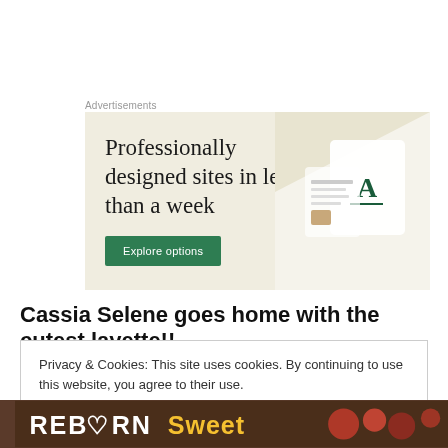Advertisements
[Figure (illustration): Advertisement banner with beige/cream background showing text 'Professionally designed sites in less than a week' with a green 'Explore options' button and website/device mockup visuals on the right side.]
Cassia Selene goes home with the cutest layette!!
Privacy & Cookies: This site uses cookies. By continuing to use this website, you agree to their use.
To find out more, including how to control cookies, see here: Cookie Policy
Close and accept
[Figure (photo): Bottom strip showing handwritten-style text 'Reborn Sweet' with decorative red and other colored elements on a dark brown background.]